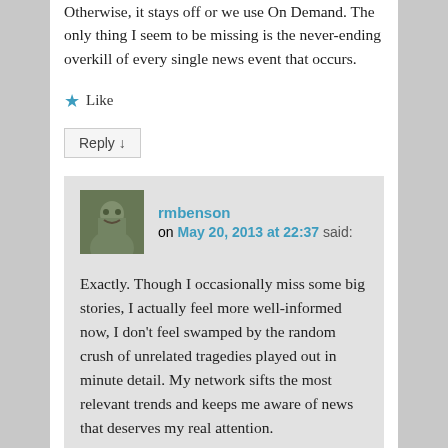Otherwise, it stays off or we use On Demand. The only thing I seem to be missing is the never-ending overkill of every single news event that occurs.
★ Like
Reply ↓
rmbenson on May 20, 2013 at 22:37 said:
Exactly. Though I occasionally miss some big stories, I actually feel more well-informed now, I don't feel swamped by the random crush of unrelated tragedies played out in minute detail. My network sifts the most relevant trends and keeps me aware of news that deserves my real attention.